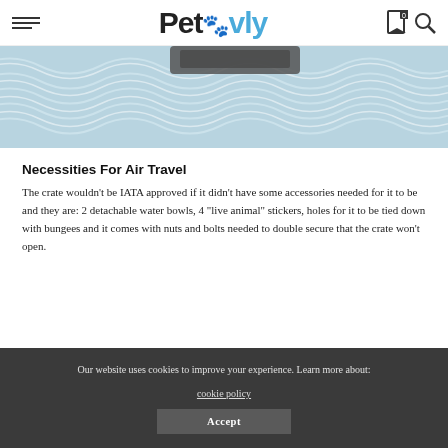Petovly
[Figure (photo): Close-up of a blue and white patterned fabric/rug with a dark object (pet crate base) visible at the top]
Necessities For Air Travel
The crate wouldn't be IATA approved if it didn't have some accessories needed for it to be and they are: 2 detachable water bowls, 4 “live animal” stickers, holes for it to be tied down with bungees and it comes with nuts and bolts needed to double secure that the crate won’t open.
Our website uses cookies to improve your experience. Learn more about: cookie policy
Accept